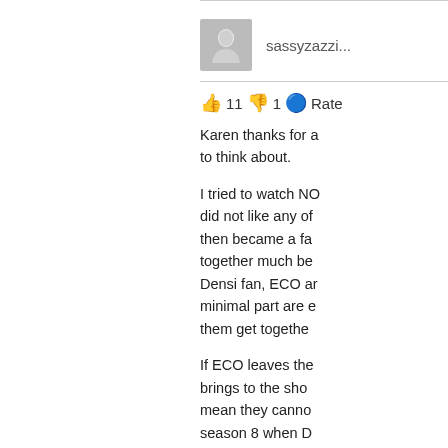[Figure (other): User avatar placeholder - grey square with person silhouette icon]
sassyzazzi
👍 11 👎 1 🔵 Rate
Karen thanks for a to think about.
I tried to watch NO did not like any of then became a fa together much be Densi fan, ECO ar minimal part are e them get togethe
If ECO leaves the brings to the sho mean they canno season 8 when D